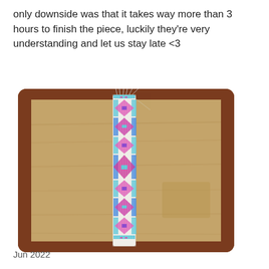only downside was that it takes way more than 3 hours to finish the piece, luckily they're very understanding and let us stay late <3
[Figure (photo): A beaded woven bracelet or band with colorful geometric patterns in pink, blue, purple, and white, laid vertically on a light wooden table surface inside a dark wooden frame tray. Threads are visible at the top.]
Jun 2022